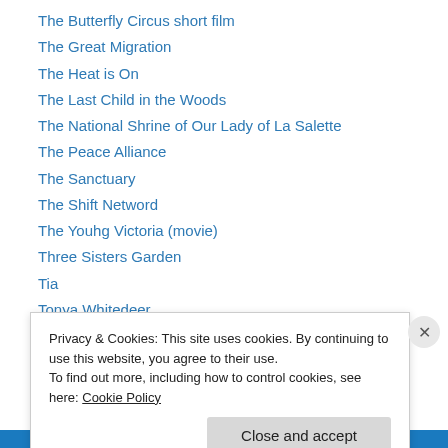The Butterfly Circus short film
The Great Migration
The Heat is On
The Last Child in the Woods
The National Shrine of Our Lady of La Salette
The Peace Alliance
The Sanctuary
The Shift Netword
The Youhg Victoria (movie)
Three Sisters Garden
Tia
Tonya Whitedeer
Tornado
Privacy & Cookies: This site uses cookies. By continuing to use this website, you agree to their use.
To find out more, including how to control cookies, see here: Cookie Policy
Close and accept